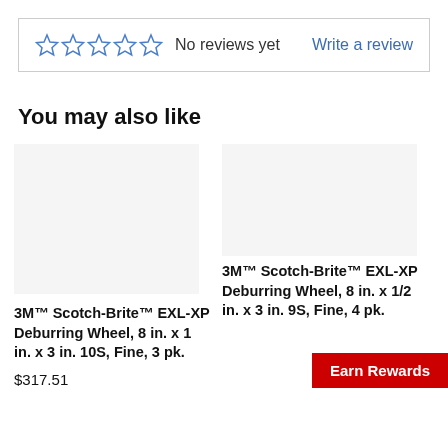No reviews yet | Write a review
You may also like
[Figure (other): Product image placeholder for 3M Scotch-Brite EXL-XP Deburring Wheel (left)]
3M™ Scotch-Brite™ EXL-XP Deburring Wheel, 8 in. x 1 in. x 3 in. 10S, Fine, 3 pk.
$317.51
[Figure (other): Product image placeholder for 3M Scotch-Brite EXL-XP Deburring Wheel (right)]
3M™ Scotch-Brite™ EXL-XP Deburring Wheel, 8 in. x 1/2 in. x 3 in. 9S, Fine, 4 pk.
Earn Rewards